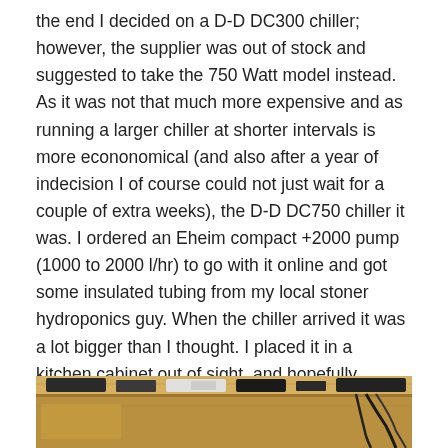the end I decided on a D-D DC300 chiller; however, the supplier was out of stock and suggested to take the 750 Watt model instead. As it was not that much more expensive and as running a larger chiller at shorter intervals is more econonomical (and also after a year of indecision I of course could not just wait for a couple of extra weeks), the D-D DC750 chiller it was. I ordered an Eheim compact +2000 pump (1000 to 2000 l/hr) to go with it online and got some insulated tubing from my local stoner hydroponics guy. When the chiller arrived it was a lot bigger than I thought. I placed it in a kitchen cabinet out of sight, and hopefully hearing, and with help from friends drilled two holes in the wall to the living room, to lead the tubing up to the tank:
[Figure (photo): Photo of wooden shelving or cabinet interior, showing various equipment and cables on wooden surfaces, partially cropped at bottom of page.]